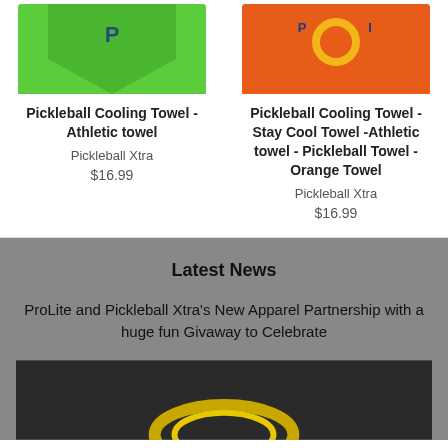[Figure (photo): Green pickleball cooling towel product image]
Pickleball Cooling Towel - Athletic towel
Pickleball Xtra
$16.99
[Figure (photo): Orange pickleball cooling towel product image]
Pickleball Cooling Towel - Stay Cool Towel -Athletic towel - Pickleball Towel - Orange Towel
Pickleball Xtra
$16.99
Latest News
ProLite and Pickleball Xtra's New Apparel Partnership with a huge fun Givaway to Celebrate
[Figure (photo): Dark background image with a gold ring or trophy, partially visible]